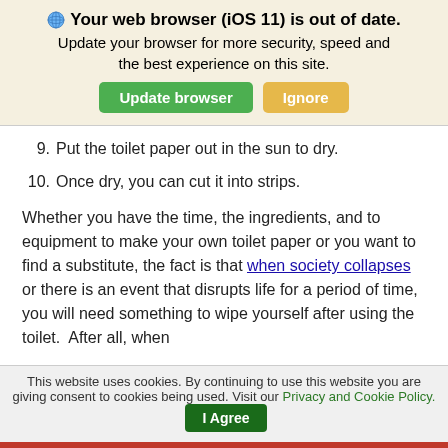[Figure (screenshot): Browser update notification banner with globe icon, bold text 'Your web browser (iOS 11) is out of date.', subtitle text, and two buttons: 'Update browser' (green) and 'Ignore' (tan/orange)]
9. Put the toilet paper out in the sun to dry.
10. Once dry, you can cut it into strips.
Whether you have the time, the ingredients, and to equipment to make your own toilet paper or you want to find a substitute, the fact is that when society collapses or there is an event that disrupts life for a period of time, you will need something to wipe yourself after using the toilet.  After all, when
[Figure (screenshot): Cookie consent banner: 'This website uses cookies. By continuing to use this website you are giving consent to cookies being used. Visit our Privacy and Cookie Policy.' with 'I Agree' green button]